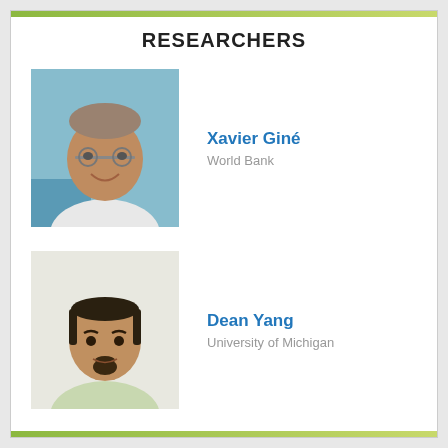RESEARCHERS
[Figure (photo): Headshot photo of Xavier Giné, a smiling middle-aged man with glasses outdoors]
Xavier Giné
World Bank
[Figure (photo): Headshot photo of Dean Yang, a man with a goatee in a light-colored shirt]
Dean Yang
University of Michigan